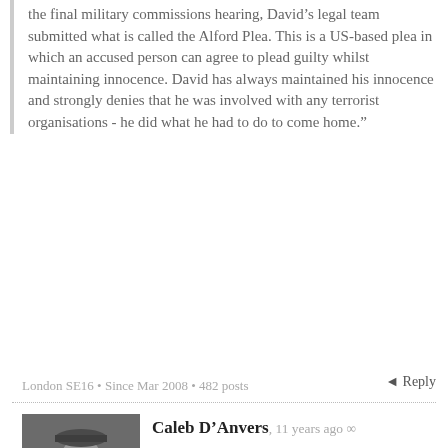the final military commissions hearing, David's legal team submitted what is called the Alford Plea. This is a US-based plea in which an accused person can agree to plead guilty whilst maintaining innocence. David has always maintained his innocence and strongly denies that he was involved with any terrorist organisations - he did what he had to do to come home."
London SE16 • Since Mar 2008 • 482 posts
Reply
Caleb D'Anvers, 11 years ago ∞
[Figure (photo): Black and white avatar photo of Caleb D'Anvers, showing a person looking upward]
Also, Sally Neighbour is suggesting that the accusation that Hicks went to Timor (for which there is no evidence) stems from the Americans' confusing him with another would-be Australian jihadist, Matthew Stewart, who served with the Australian Army in Timor in the late '90s.
London SE16 • Since Mar 2008 • 482 posts